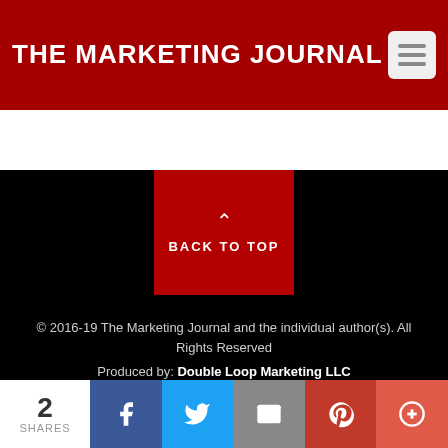THE MARKETING JOURNAL
BACK TO TOP
© 2016-19 The Marketing Journal and the individual author(s). All Rights Reserved
Produced by: Double Loop Marketing LLC
By using this site, scrolling this page, clicking a link or continuing to browse otherwise, you agree to the use of cookies, our privacy policy,
2 SHARES